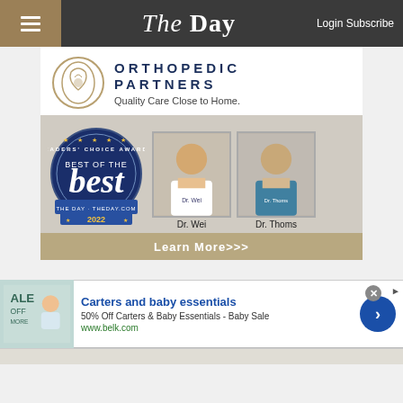The Day  Login Subscribe
[Figure (illustration): Orthopedic Partners advertisement featuring logo, 'Best of the Best 2022 Readers Choice Awards' badge, photos of Dr. Wei and Dr. Thoms, tagline 'Quality Care Close to Home.', and 'Learn More>>>' button]
[Figure (illustration): Carters and baby essentials advertisement with baby sale image, title, description, and www.belk.com URL]